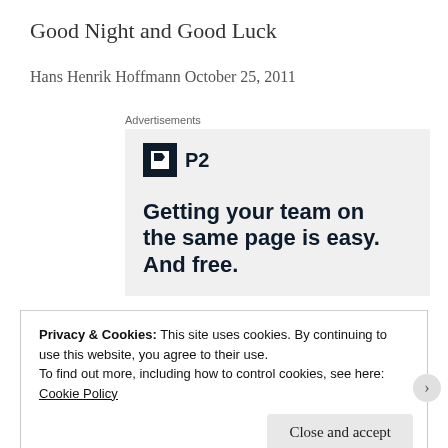Good Night and Good Luck
Hans Henrik Hoffmann October 25, 2011
[Figure (screenshot): Advertisement box with a light gray background. Contains a P2 logo (dark square icon with a bookmark symbol and text 'P2') and bold text reading 'Getting your team on the same page is easy. And free.']
Privacy & Cookies: This site uses cookies. By continuing to use this website, you agree to their use.
To find out more, including how to control cookies, see here:
Cookie Policy
Close and accept